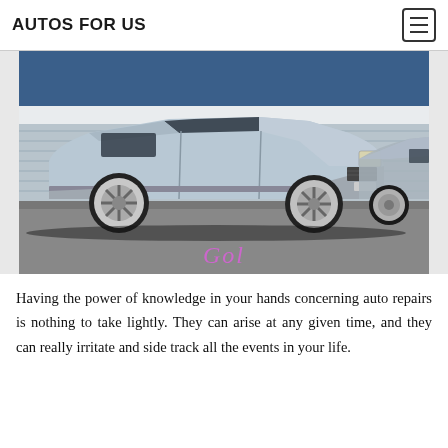AUTOS FOR US
[Figure (photo): A lowered light blue Volkswagen Gol sedan photographed in what appears to be an indoor automotive show or garage. A second similar vehicle is visible on the right side. The car features large aftermarket alloy wheels. A pink cursive 'Gol' watermark appears at the bottom center of the image.]
Having the power of knowledge in your hands concerning auto repairs is nothing to take lightly. They can arise at any given time, and they can really irritate and side track all the events in your life.